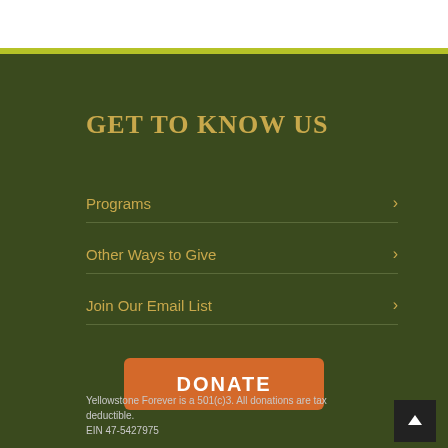GET TO KNOW US
Programs
Other Ways to Give
Join Our Email List
DONATE
Yellowstone Forever is a 501(c)3. All donations are tax deductible. EIN 47-5427975